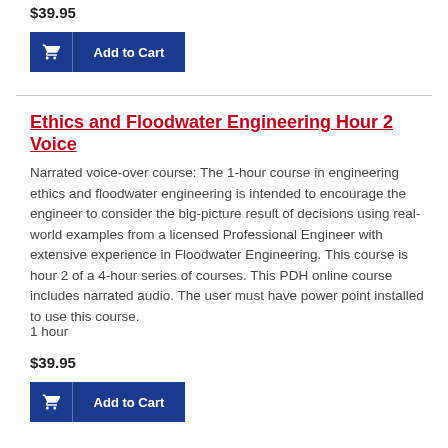$39.95
[Figure (other): Add to Cart button (blue) with shopping cart icon]
Ethics and Floodwater Engineering Hour 2 Voice
Narrated voice-over course: The 1-hour course in engineering ethics and floodwater engineering is intended to encourage the engineer to consider the big-picture result of decisions using real-world examples from a licensed Professional Engineer with extensive experience in Floodwater Engineering. This course is hour 2 of a 4-hour series of courses. This PDH online course includes narrated audio. The user must have power point installed to use this course.
1 hour
$39.95
[Figure (other): Add to Cart button (blue) with shopping cart icon]